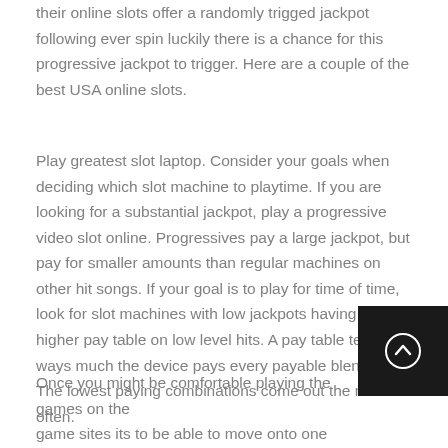their online slots offer a randomly trigged jackpot following ever spin luckily there is a chance for this progressive jackpot to trigger. Here are a couple of the best USA online slots.
Play greatest slot laptop. Consider your goals when deciding which slot machine to playtime. If you are looking for a substantial jackpot, play a progressive video slot online. Progressives pay a large jackpot, but pay for smaller amounts than regular machines on other hit songs. If your goal is to play for time of time, look for slot machines with low jackpots having a higher pay table on low level hits. A pay table tells you ways much the device pays every payable blend of. The lowest paying combinations come out the most often.
Once you might be comfortable playing the games on the game sites its to be able to move onto one with the online casinos. Here you will be wanting to play are the real deal cash winnings, after get deposited as expected. Before you do this